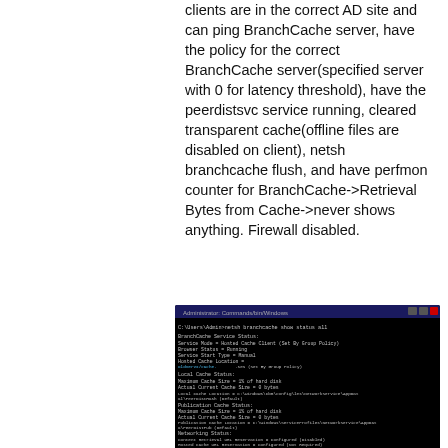clients are in the correct AD site and can ping BranchCache server, have the policy for the correct BranchCache server(specified server with 0 for latency threshold), have the peerdistsvc service running, cleared transparent cache(offline files are disabled on client), netsh branchcache flush, and have perfmon counter for BranchCache->Retrieval Bytes from Cache->never shows anything. Firewall disabled.
[Figure (screenshot): Command prompt window showing BranchCache Service Status output with black background, displaying service mode, browser status, service start type, hosted cache location, Local Cache Status, Publication Cache Status, and Networking Status sections.]